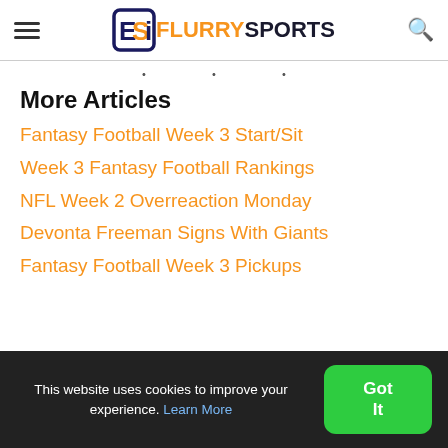FlurrySports
More Articles
Fantasy Football Week 3 Start/Sit
Week 3 Fantasy Football Rankings
NFL Week 2 Overreaction Monday
Devonta Freeman Signs With Giants
Fantasy Football Week 3 Pickups
This website uses cookies to improve your experience. Learn More  Got It